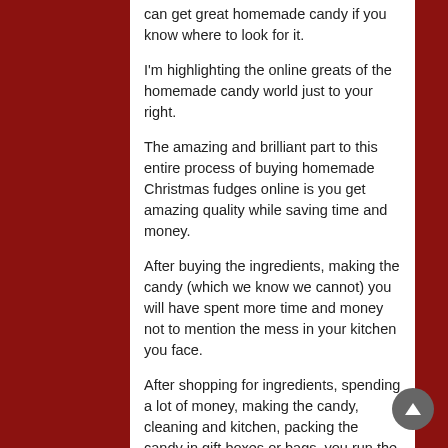can get great homemade candy if you know where to look for it.
I'm highlighting the online greats of the homemade candy world just to your right.
The amazing and brilliant part to this entire process of buying homemade Christmas fudges online is you get amazing quality while saving time and money.
After buying the ingredients, making the candy (which we know we cannot) you will have spent more time and money not to mention the mess in your kitchen you face.
After shopping for ingredients, spending a lot of money, making the candy, cleaning and kitchen, packing the candy in gift boxes or bags, you run the risk of making a awful batch of candy you can't share with anyone.
Will you throw the underwhelming batch of candy away or keep it around for the family